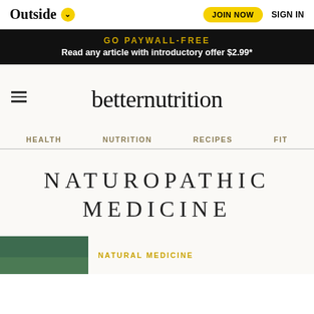Outside — JOIN NOW   SIGN IN
GO PAYWALL-FREE
Read any article with introductory offer $2.99*
betternutrition
HEALTH   NUTRITION   RECIPES   FIT
NATUROPATHIC MEDICINE
NATURAL MEDICINE